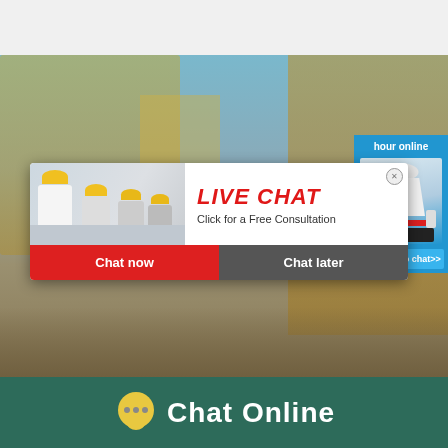[Figure (screenshot): Web page screenshot showing industrial machinery site with a live chat popup overlay. Background shows workers in yellow hard hats and industrial equipment. A popup dialog shows 'LIVE CHAT - Click for a Free Consultation' with 'Chat now' (red) and 'Chat later' (grey) buttons. A right-side widget shows 'hour online' text, a cone crusher machine image, and a 'Click me to chat>>' button on blue background.]
LIVE CHAT
Click for a Free Consultation
Chat now
Chat later
hour online
Click me to chat>>
Chat Online